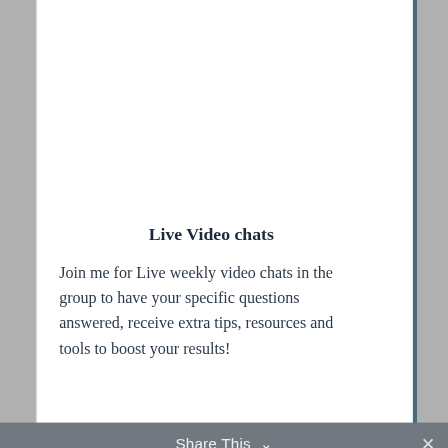Live Video chats
Join me for Live weekly video chats in the group to have your specific questions answered, receive extra tips, resources and tools to boost your results!
Share This ∨  ✕